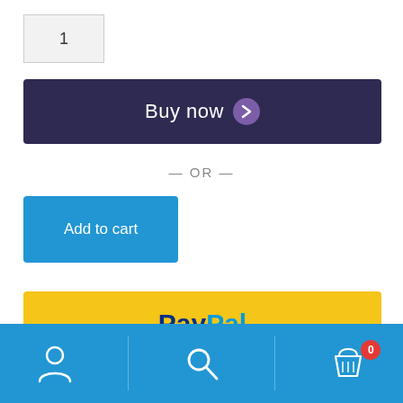1
[Figure (screenshot): Buy now button with dark navy background and purple chevron icon]
— OR —
[Figure (screenshot): Add to cart blue button]
[Figure (screenshot): PayPal payment button with yellow background]
[Figure (screenshot): Dark wallet/card payment button with card icon]
[Figure (screenshot): Bottom navigation bar with user, search, and cart icons; cart shows badge 0]